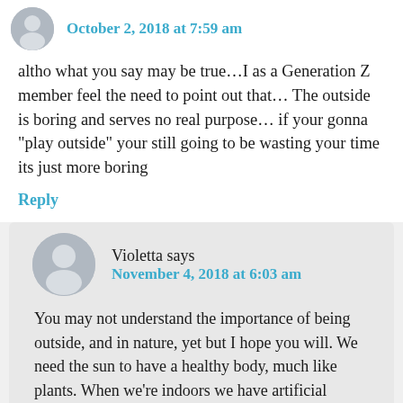October 2, 2018 at 7:59 am
altho what you say may be true…I as a Generation Z member feel the need to point out that… The outside is boring and serves no real purpose… if your gonna “play outside” your still going to be wasting your time its just more boring
Reply
Violetta says
November 4, 2018 at 6:03 am
You may not understand the importance of being outside, and in nature, yet but I hope you will. We need the sun to have a healthy body, much like plants. When we’re indoors we have artificial